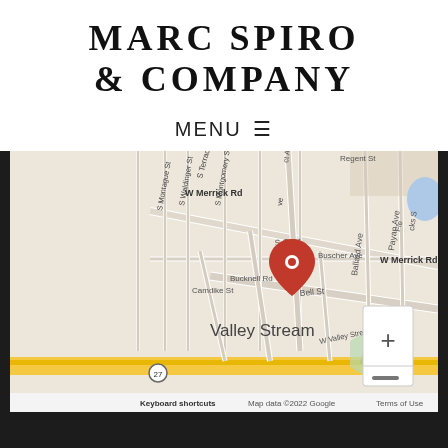MARC SPIRO & COMPANY
MENU ≡
[Figure (map): Google Maps screenshot showing Valley Stream area with a red location pin on S Central Ave near W Merrick Rd. Street labels include W Merrick Rd, Buscher Ave, Bucknell Rd, S Montgomery St, S Waldinger St, S Montague St, S Terrace Py, Camdike St, Bell St, Ballard Ave, Payan Ave, Regent St, W Valley Stream Blvd, and Valley Stream label. Map controls show + and - zoom buttons. Bottom bar shows: Keyboard shortcuts, Map data ©2022 Google, Terms of Use]
GET DIRECTIONS